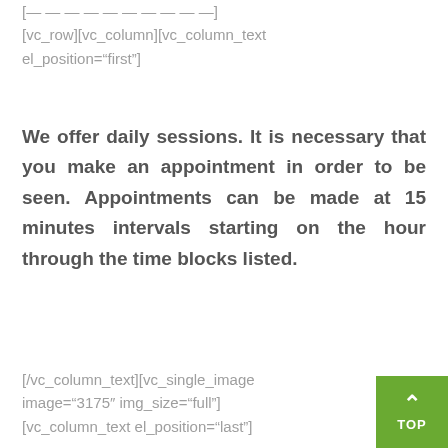[— — — — — — — — — —]
[vc_row][vc_column][vc_column_text el_position="first"]
We offer daily sessions. It is necessary that you make an appointment in order to be seen. Appointments can be made at 15 minutes intervals starting on the hour through the time blocks listed.
[/vc_column_text][vc_single_image image="3175″ img_size="full"] [vc_column_text el_position="last"]
We offer a number of additional services during the community acupuncture. All of these services are priced very reasonably so that you can take advantage of them if it will